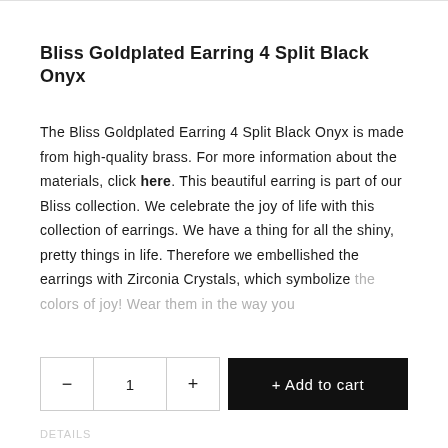Bliss Goldplated Earring 4 Split Black Onyx
The Bliss Goldplated Earring 4 Split Black Onyx is made from high-quality brass. For more information about the materials, click here. This beautiful earring is part of our Bliss collection. We celebrate the joy of life with this collection of earrings. We have a thing for all the shiny, pretty things in life. Therefore we embellished the earrings with Zirconia Crystals, which symbolize the colors of joy! Wear them in the way you
DETAILS